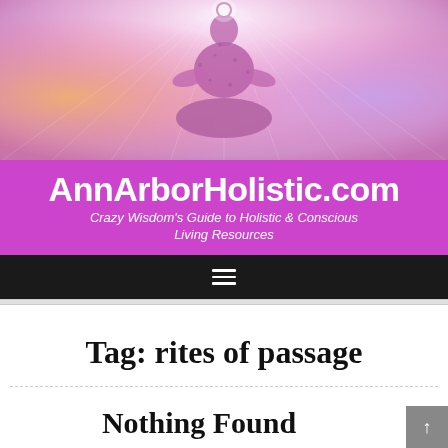[Figure (illustration): Meditation figure in lotus position with cosmic/spiritual background in pink, purple, orange, and gold tones with radiating light rays]
AnnArborHolistic.com
Crazy Wisdom's Guide to Holistic & Conscious Living Resources
[Figure (other): Navigation hamburger menu icon (three horizontal lines) on black bar]
Tag: rites of passage
Nothing Found